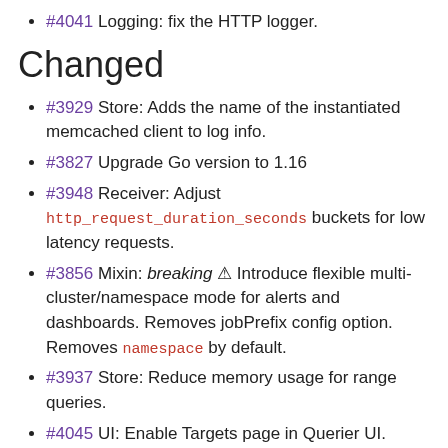#4041 Logging: fix the HTTP logger.
Changed
#3929 Store: Adds the name of the instantiated memcached client to log info.
#3827 Upgrade Go version to 1.16
#3948 Receiver: Adjust http_request_duration_seconds buckets for low latency requests.
#3856 Mixin: breaking ⚠ Introduce flexible multi-cluster/namespace mode for alerts and dashboards. Removes jobPrefix config option. Removes namespace by default.
#3937 Store: Reduce memory usage for range queries.
#4045 UI: Enable Targets page in Querier UI.
#4062 Flags: Sort flags alphabetically.
#4081 UI: Make the ReactUI the default one.
#4085 Receive: Improved Performance for err path